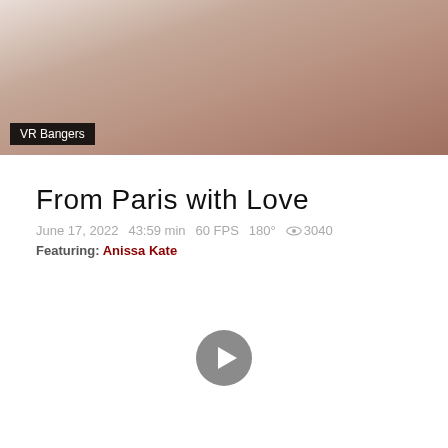[Figure (photo): Thumbnail image with VR Bangers brand badge overlay at bottom left]
From Paris with Love
June 17, 2022   43:59 min   60 FPS   180°   👁 3040
Featuring: Anissa Kate
[Figure (other): Play button icon (circular grey play button)]